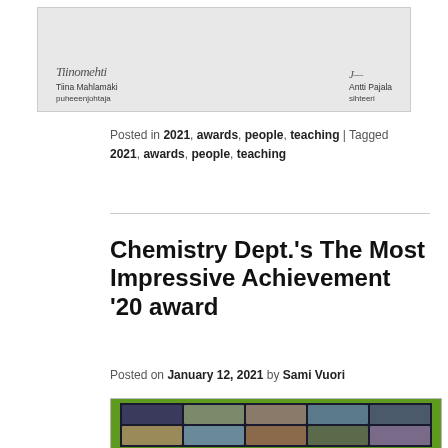[Figure (photo): Scanned certificate or document bottom showing two handwritten signatures with names 'Tiina Mahlamäki puheeenjohtaja' and 'Antti Pajala sihteeri']
Posted in 2021, awards, people, teaching | Tagged 2021, awards, people, teaching
Chemistry Dept.'s The Most Impressive Achievement '20 award
Posted on January 12, 2021 by Sami Vuori
[Figure (photo): Screenshot of a video call with multiple participants shown in a grid layout, with a green border frame around the image]